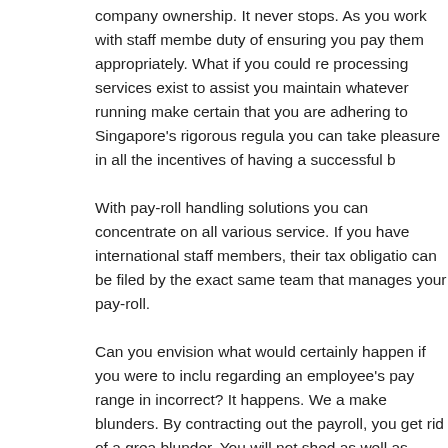company ownership. It never stops. As you work with staff members, you have the duty of ensuring you pay them appropriately. What if you could reduce that? Payroll processing services exist to assist you maintain whatever running smoothly and to make certain that you are adhering to Singapore's rigorous regulations, so that you can take pleasure in all the incentives of having a successful business.
With pay-roll handling solutions you can concentrate on all various other aspects of service. If you have international staff members, their tax obligations and documents can be filed by the exact same team that manages your pay-roll.
Can you envision what would certainly happen if you were to include something regarding an employee's pay range in incorrect? It happens. We all occasionally make blunders. By contracting out the payroll, you get rid of a great possibility for that blunder. You will not shed as well as overpay money for your company, and it will not harm your staff member. It will certainly also make sure that you stay compliant in Singapore.
There are several alternatives you can try if you desire aid with your payroll, such as the task of a person in human resources. This worked, but it was time consuming. As freelancers came to be a lot more prominent, business discovered